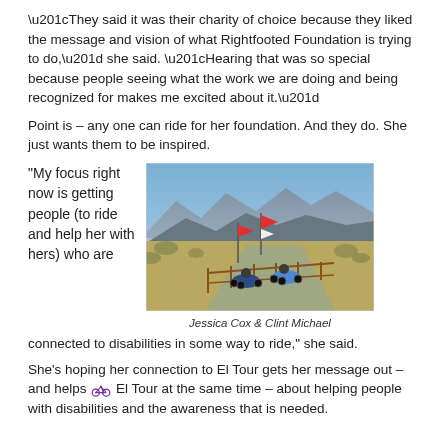“They said it was their charity of choice because they liked the message and vision of what Rightfooted Foundation is trying to do,” she said. “Hearing that was so special because people seeing what the work we are doing and being recognized for makes me excited about it.”
Point is – any one can ride for her foundation. And they do. She just wants them to be inspired.
“My focus right now is getting people (to ride and help her with hers) who are
[Figure (photo): Two cyclists on recumbent tricycles on a paved path with orange safety flags, desert scrub and mountains in the background, with a brown fence alongside the path.]
Jessica Cox & Clint Michael
connected to disabilities in some way to ride,” she said.
She’s hoping her connection to El Tour gets her message out – and helps El Tour at the same time – about helping people with disabilities and the awareness that is needed.